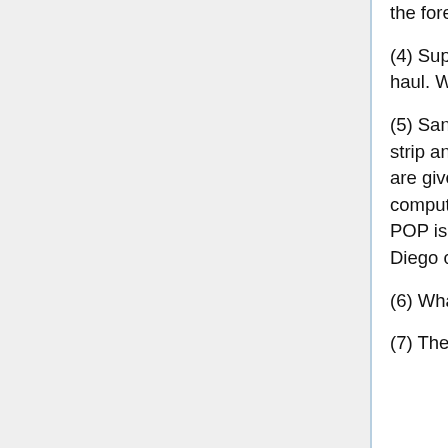the forecaster correct?
(4) Suppose that Minneapolis gets precipitation 3 days out of 10 over the long haul. Why not report a POP of 30% every single day?
(5) San Diego county is spread out over a large area, comprising the coastal strip and inland valleys, the mountains, and the deserts. Separate forecasts are given for each region. Suppose, however, that the weather bureau computes a single POP for the whole area. On days on which this composite POP is 20%, what is the probability that a randomly selected resident of San Diego county will get rained on?
(6) What do you think is the correct answer to the Reader reader's question?
(7) There are contests to reward the best